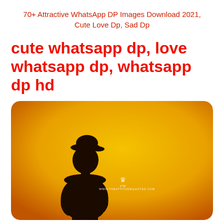70+ Attractive WhatsApp DP Images Download 2021, Cute Love Dp, Sad Dp
cute whatsapp dp, love whatsapp dp, whatsapp dp hd
[Figure (photo): A silhouette of a person (male, wearing a cap) standing against a warm golden-yellow to orange gradient background. A small watermark logo and text 'WWW.THEATTITUDEQUOTES.COM' appears in the lower center-right area. The image has rounded corners.]